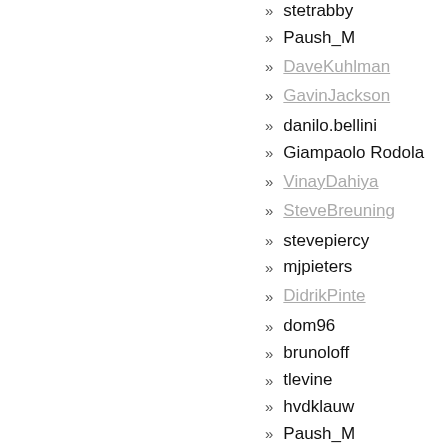» stetrabby
» Paush_M
» DaveKuhlman
» GavinJackson
» danilo.bellini
» Giampaolo Rodola
» VinayDahiya
» SteveBreuning
» stevepiercy
» mjpieters
» DidrikPinte
» dom96
» brunoloff
» tlevine
» hvdklauw
» Paush_M
» Strijker
» pherkad
» JZA
» alexdzul